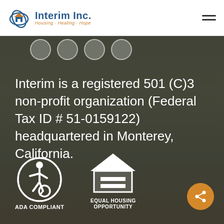[Figure (logo): Interim Inc. logo with house icon and tagline Housing Healing Hope]
Interim is a registered 501 (C)3 non-profit organization (Federal Tax ID # 51-0159122) headquartered in Monterey, California.
[Figure (illustration): ADA Compliant accessibility icon - white wheelchair symbol in circle]
ADA Compliant
[Figure (illustration): Equal Housing Opportunity logo - house with equal sign]
EQUAL HOUSING OPPORTUNITY